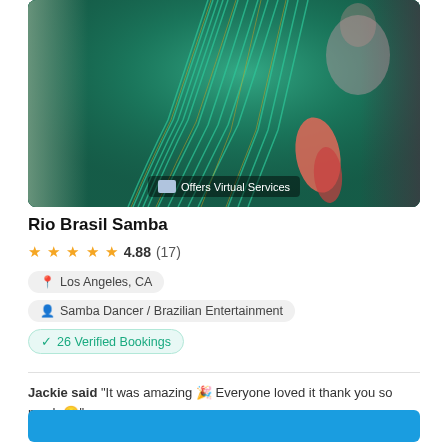[Figure (photo): Carnival samba dancer in colorful teal feathered costume with headdress. Badge overlay reads 'Offers Virtual Services'.]
Rio Brasil Samba
★★★★★ 4.88 (17)
Los Angeles, CA
Samba Dancer / Brazilian Entertainment
✓ 26 Verified Bookings
Jackie said "It was amazing 🎉 Everyone loved it thank you so much 😊"